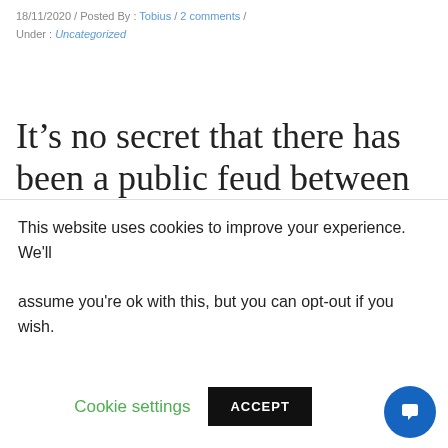18/11/2020 / Posted By : Tobius / 2 comments / Under : Uncategorized
It’s no secret that there has been a public feud between the two professional poker players Doug Polk and Daniel
This website uses cookies to improve your experience. We'll assume you're ok with this, but you can opt-out if you wish.
Cookie settings | ACCEPT